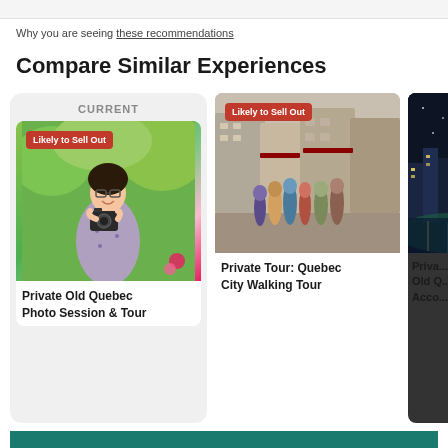Why you are seeing these recommendations
Compare Similar Experiences
[Figure (screenshot): Card labeled CURRENT showing a photo of a woman with a camera outdoors with 'Likely to Sell Out' badge, titled 'Private Old Quebec Photo Session & Tour']
[Figure (screenshot): Card showing a group of tourists in a cobblestone plaza with 'Likely to Sell Out' badge, titled 'Private Tour: Quebec City Walking Tour']
[Figure (screenshot): Partially visible card showing a nighttime city scene, with partial title 'Priv... Old Q... Acco...']
See Similar Products